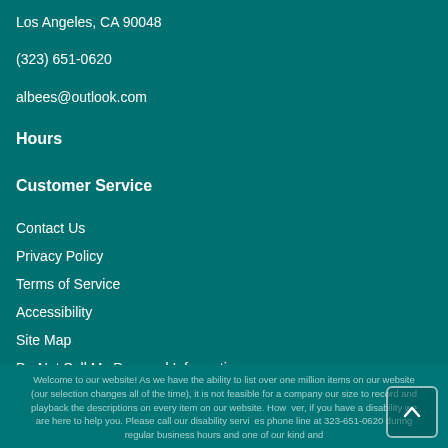Los Angeles, CA 90048
(323) 651-0620
albees@outlook.com
Hours
Customer Service
Contact Us
Privacy Policy
Terms of Service
Accessibility
Site Map
Do Not Sell My Personal Information
[Figure (illustration): Facebook and YouTube social media icons in white]
Welcome to our website! As we have the ability to list over one million items on our website (our selection changes all of the time), it is not feasible for a company our size to record and playback the descriptions on every item on our website. However, if you have a disability we are here to help you. Please call our disability services phone line at 323-651-0620 during regular business hours and one of our kind and